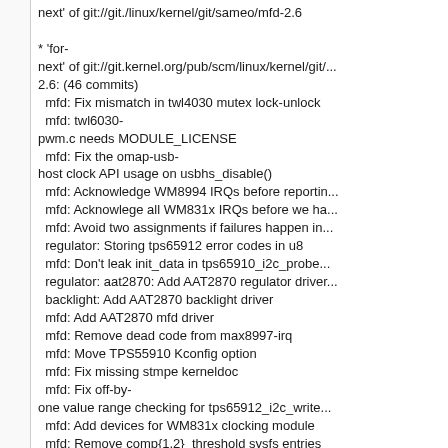next' of git://git./linux/kernel/git/sameo/mfd-2.6

* 'for-
next' of git://git.kernel.org/pub/scm/linux/kernel/git/...
2.6: (46 commits)
  mfd: Fix mismatch in twl4030 mutex lock-unlock
  mfd: twl6030-pwm.c needs MODULE_LICENSE
  mfd: Fix the omap-usb-host clock API usage on usbhs_disable()
  mfd: Acknowledge WM8994 IRQs before reportin...
  mfd: Acknowlege all WM831x IRQs before we ha...
  mfd: Avoid two assignments if failures happen in...
  regulator: Storing tps65912 error codes in u8
  mfd: Don't leak init_data in tps65910_i2c_probe...
  regulator: aat2870: Add AAT2870 regulator driver...
  backlight: Add AAT2870 backlight driver
  mfd: Add AAT2870 mfd driver
  mfd: Remove dead code from max8997-irq
  mfd: Move TPS55910 Kconfig option
  mfd: Fix missing stmpe kerneldoc
  mfd: Fix off-by-one value range checking for tps65912_i2c_write...
  mfd: Add devices for WM831x clocking module
  mfd: Remove comp{1,2}_threshold sysfs entries
  mfd: Don't ask about the TPS65912 core driver in...
  mfd: Fix off by one in WM831x IRQ code
  mfd: Add tps65921 support from twl-core

...